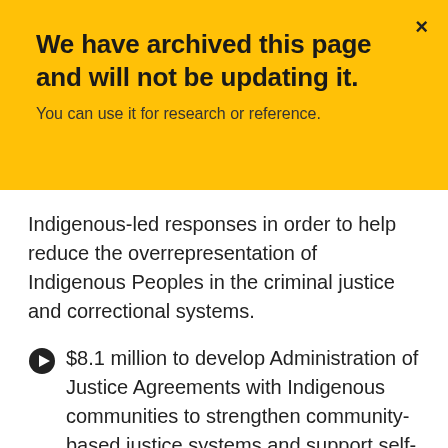We have archived this page and will not be updating it.
You can use it for research or reference.
Indigenous-led responses in order to help reduce the overrepresentation of Indigenous Peoples in the criminal justice and correctional systems.
$8.1 million to develop Administration of Justice Agreements with Indigenous communities to strengthen community-based justice systems and support self-determination.